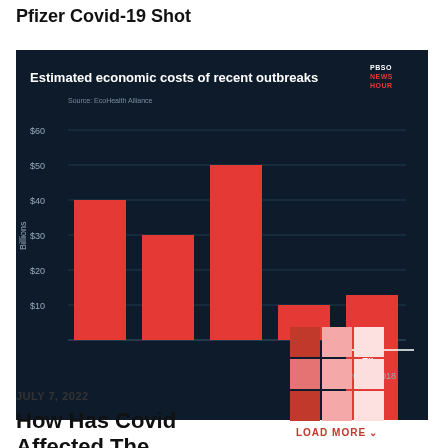Pfizer Covid-19 Shot
[Figure (bar-chart): Estimated economic costs of recent outbreaks]
JULY 7, 2022
How Has Covid Affected The Economy
LOAD MORE